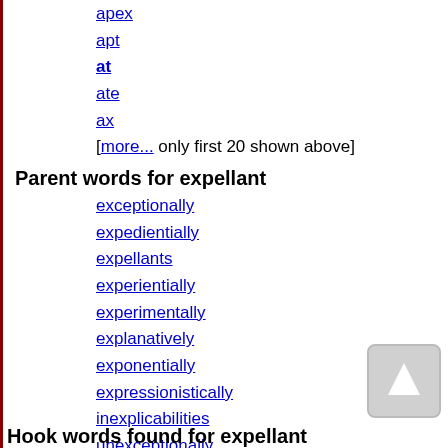apex
apt
at
ate
ax
[more... only first 20 shown above]
Parent words for expellant
exceptionally
expedientially
expellants
experientially
experimentally
explanatively
exponentially
expressionistically
inexplicabilities
unexceptionally
Hook words found for expellant